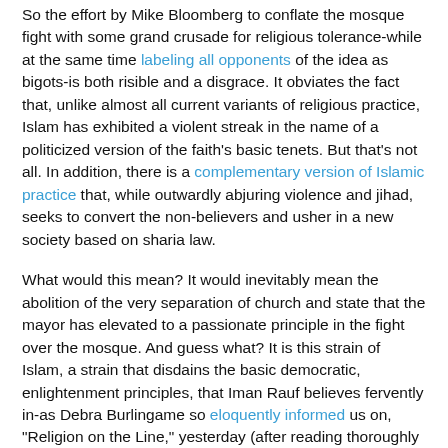So the effort by Mike Bloomberg to conflate the mosque fight with some grand crusade for religious tolerance-while at the same time labeling all opponents of the idea as bigots-is both risible and a disgrace. It obviates the fact that, unlike almost all current variants of religious practice, Islam has exhibited a violent streak in the name of a politicized version of the faith's basic tenets. But that's not all. In addition, there is a complementary version of Islamic practice that, while outwardly abjuring violence and jihad, seeks to convert the non-believers and usher in a new society based on sharia law.
What would this mean? It would inevitably mean the abolition of the very separation of church and state that the mayor has elevated to a passionate principle in the fight over the mosque. And guess what? It is this strain of Islam, a strain that disdains the basic democratic, enlightenment principles, that Iman Rauf believes fervently in-as Debra Burlingame so eloquently informed us on, "Religion on the Line," yesterday (after reading thoroughly the imam's book).